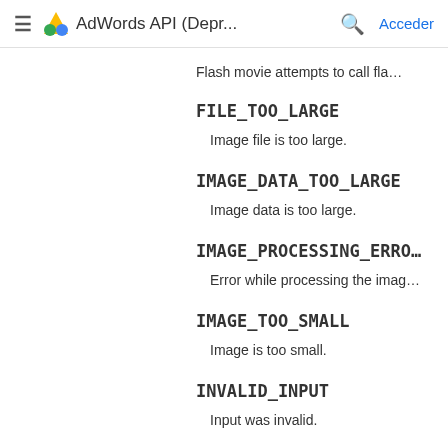≡  AdWords API (Depr...  🔍  Acceder
Flash movie attempts to call fla…
FILE_TOO_LARGE
Image file is too large.
IMAGE_DATA_TOO_LARGE
Image data is too large.
IMAGE_PROCESSING_ERROR
Error while processing the imag…
IMAGE_TOO_SMALL
Image is too small.
INVALID_INPUT
Input was invalid.